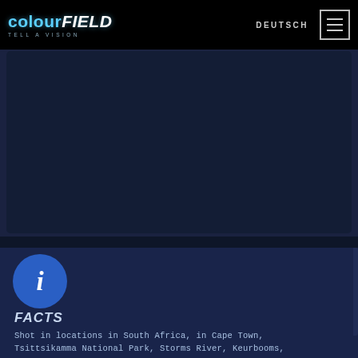colourFIELD TELL A VISION | DEUTSCH
[Figure (screenshot): Dark navy blue video embed area, placeholder for a video player]
[Figure (infographic): Blue circular info icon button with italic 'i']
FACTS
Shot in locations in South Africa, in Cape Town, Tsittsikamma National Park, Storms River, Keurbooms, Plettenberg Bay and in London, England.